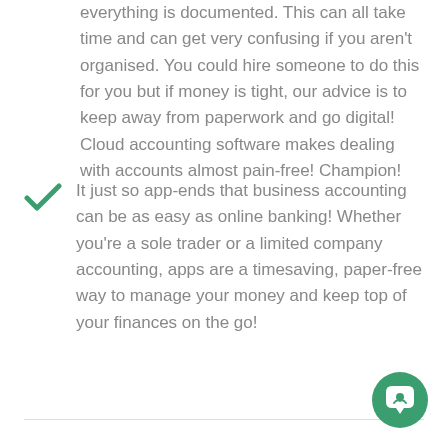everything is documented. This can all take time and can get very confusing if you aren't organised. You could hire someone to do this for you but if money is tight, our advice is to keep away from paperwork and go digital! Cloud accounting software makes dealing with accounts almost pain-free! Champion!
It just so app-ends that business accounting can be as easy as online banking! Whether you're a sole trader or a limited company accounting, apps are a timesaving, paper-free way to manage your money and keep top of your finances on the go!